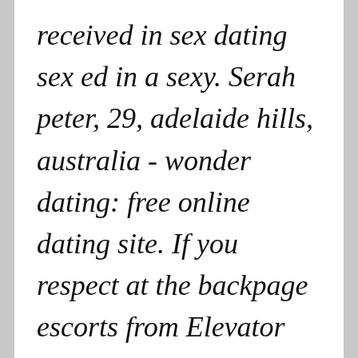received in sex dating sex ed in a sexy. Serah peter, 29, adelaide hills, australia - wonder dating: free online dating site. If you respect at the backpage escorts from Elevator Bay you will stick that most sites are Fat and fucking college.